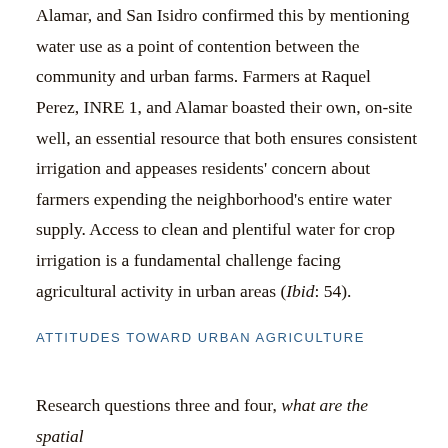Alamar, and San Isidro confirmed this by mentioning water use as a point of contention between the community and urban farms. Farmers at Raquel Perez, INRE 1, and Alamar boasted their own, on-site well, an essential resource that both ensures consistent irrigation and appeases residents' concern about farmers expending the neighborhood's entire water supply. Access to clean and plentiful water for crop irrigation is a fundamental challenge facing agricultural activity in urban areas (Ibid: 54).
ATTITUDES TOWARD URBAN AGRICULTURE
Research questions three and four, what are the spatial